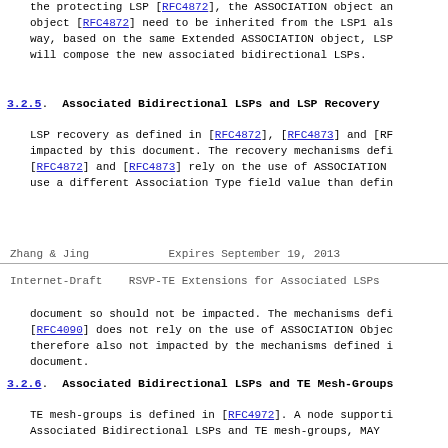the protecting LSP [RFC4872], the ASSOCIATION object an object [RFC4872] need to be inherited from the LSP1 als way, based on the same Extended ASSOCIATION object, LSP will compose the new associated bidirectional LSPs.
3.2.5.  Associated Bidirectional LSPs and LSP Recovery
LSP recovery as defined in [RFC4872], [RFC4873] and [RF impacted by this document. The recovery mechanisms defi [RFC4872] and [RFC4873] rely on the use of ASSOCIATION use a different Association Type field value than defin
Zhang & Jing                Expires September 19, 2013
Internet-Draft    RSVP-TE Extensions for Associated LSPs
document so should not be impacted. The mechanisms defi [RFC4090] does not rely on the use of ASSOCIATION Objec therefore also not impacted by the mechanisms defined i document.
3.2.6.  Associated Bidirectional LSPs and TE Mesh-Groups
TE mesh-groups is defined in [RFC4972]. A node supporti Associated Bidirectional LSPs and TE mesh-groups, MAY